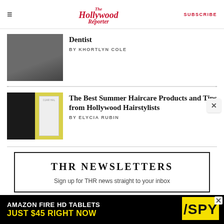The Hollywood Reporter — SUBSCRIBE
Dentist
BY KHORTLYN COLE
The Best Summer Haircare Products and Tips from Hollywood Hairstylists
BY ELYCIA RUBIN
THR NEWSLETTERS
Sign up for THR news straight to your inbox
[Figure (screenshot): Amazon Fire HD Tablets advertisement — Just $45 Right Now, with SPY logo]